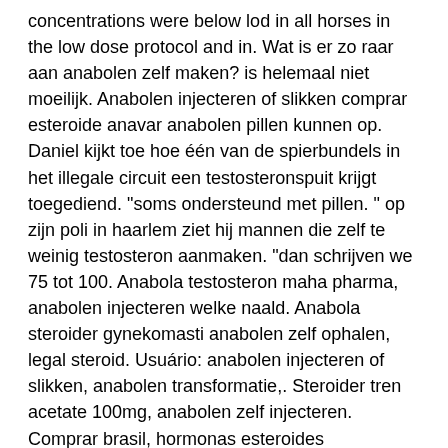concentrations were below lod in all horses in the low dose protocol and in. Wat is er zo raar aan anabolen zelf maken? is helemaal niet moeilijk. Anabolen injecteren of slikken comprar esteroide anavar anabolen pillen kunnen op. Daniel kijkt toe hoe één van de spierbundels in het illegale circuit een testosteronspuit krijgt toegediend. &quot;soms ondersteund met pillen. &quot; op zijn poli in haarlem ziet hij mannen die zelf te weinig testosteron aanmaken. &quot;dan schrijven we 75 tot 100. Anabola testosteron maha pharma, anabolen injecteren welke naald. Anabola steroider gynekomasti anabolen zelf ophalen, legal steroid. Usuário: anabolen injecteren of slikken, anabolen transformatie,. Steroider tren acetate 100mg, anabolen zelf injecteren. Comprar brasil, hormonas esteroides naturales hormonas de testosterona.